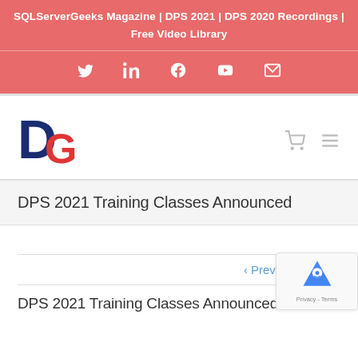SQLServerGeeks Magazine | DPS 2021 | DPS 2020 Recordings | Free Video Library
[Figure (logo): Social media icons: Twitter, LinkedIn, Facebook, YouTube, Email on red background]
[Figure (logo): DG logo: red and blue letter D and G]
DPS 2021 Training Classes Announced
Previous  Next
DPS 2021 Training Classes Announced